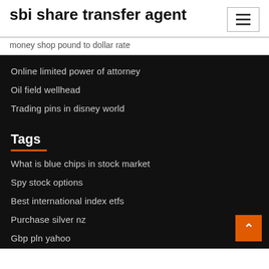sbi share transfer agent
money shop pound to dollar rate
Online limited power of attorney
Oil field wellhead
Trading pins in disney world
Tags
What is blue chips in stock market
Spy stock options
Best international index etfs
Purchase silver nz
Gbp pln yahoo